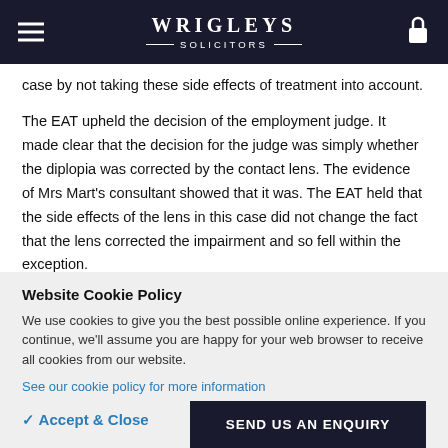WRIGLEYS SOLICITORS
case by not taking these side effects of treatment into account.
The EAT upheld the decision of the employment judge. It made clear that the decision for the judge was simply whether the diplopia was corrected by the contact lens. The evidence of Mrs Mart's consultant showed that it was. The EAT held that the side effects of the lens in this case did not change the fact that the lens corrected the impairment and so fell within the exception.
The EAT did comment, however, that the question of whether a
Website Cookie Policy
We use cookies to give you the best possible online experience. If you continue, we'll assume you are happy for your web browser to receive all cookies from our website.
See our cookie policy for more information
✓ Accept & Close
SEND US AN ENQUIRY